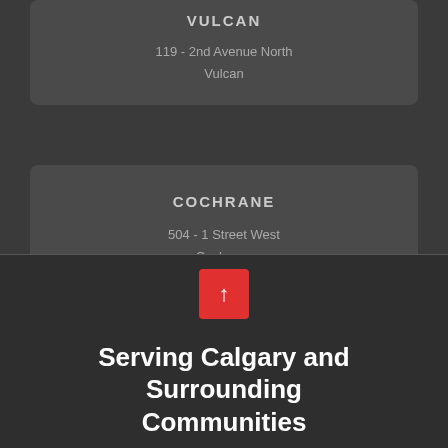VULCAN
119 - 2nd Avenue North
Vulcan
COCHRANE
504 - 1 Street West
Cochrane
(403) 253-1901
[Figure (illustration): Red button with upward arrow icon]
Serving Calgary and Surrounding Communities